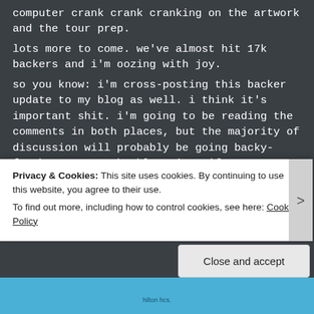computer crank crank cranking on the artwork and the tour prep.
lots more to come. we've almost hit 17k backers and i'm oozing with joy.
so you know: i'm cross-posting this backer update to my blog as well. i think it's important shit. i'm going to be reading the comments in both places, but the majority of discussion will probably be going backy-forthy over on the blog site, if you want to join the conversation over there. HERE is the link. the text is exactly the same.
————————————————————————
this is a backer update, this is, this is, child...
Privacy & Cookies: This site uses cookies. By continuing to use this website, you agree to their use.
To find out more, including how to control cookies, see here: Cookie Policy
Close and accept